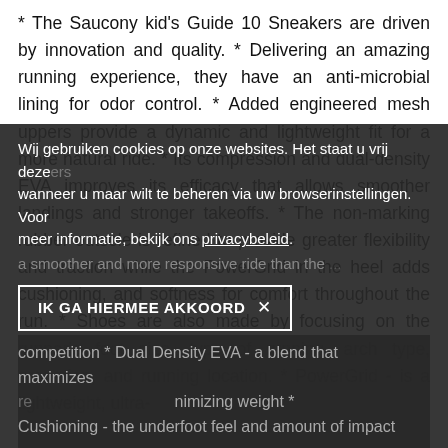* The Saucony kid's Guide 10 Sneakers are driven by innovation and quality. * Delivering an amazing running experience, they have an anti-microbial lining for odor control. * Added engineered mesh uppers provide a dynamic and lightweight fit for a more natural ride. * Its compression and dual-density EVA improves its efficacy that allows smoother landings and stronger takeoffs. * The non-marking rubber outsole is refined to provide greater flexibility and traction while the PowerGrid in the heel adds cushioning, and softness for comfort throughout the run. * Shoes are also made by focusing on the runner's foot size, type of running, arch type, pronation, and running location. * PowerGrid - is a lightweight, ultra-
Wij gebruiken cookies op onze websites. Het staat u vrij deze wanneer u maar wilt te beheren via uw browserinstellingen. Voor meer informatie, bekijk ons privacybeleid.
IK GA HIERMEE AKKOORD  ×
a smoother and more responsive ride than the competition * Dual Density EVA - a blend that maximizes re minimizing weight * Cushioning - the underfoot feel and amount of impact